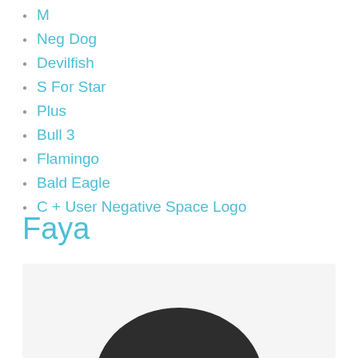M
Neg Dog
Devilfish
S For Star
Plus
Bull 3
Flamingo
Bald Eagle
C + User Negative Space Logo
Faya
[Figure (illustration): A dark rounded shape (top of a head/logo) visible at the bottom of a light gray framed box, partially cropped.]